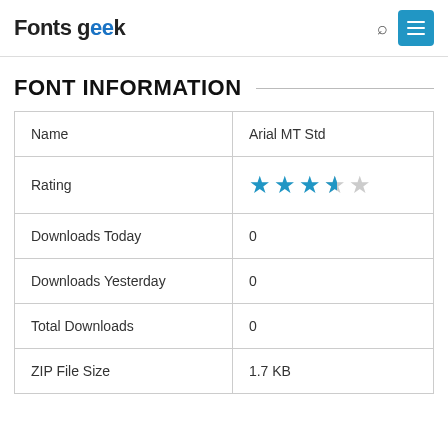Fonts Geek
FONT INFORMATION
|  |  |
| --- | --- |
| Name | Arial MT Std |
| Rating | ★★★★☆ (4.5 stars) |
| Downloads Today | 0 |
| Downloads Yesterday | 0 |
| Total Downloads | 0 |
| ZIP File Size | 1.7 KB |